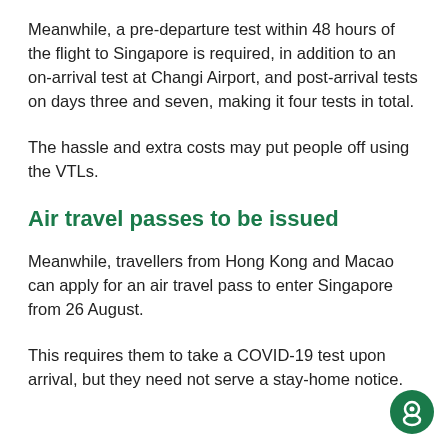Meanwhile, a pre-departure test within 48 hours of the flight to Singapore is required, in addition to an on-arrival test at Changi Airport, and post-arrival tests on days three and seven, making it four tests in total.
The hassle and extra costs may put people off using the VTLs.
Air travel passes to be issued
Meanwhile, travellers from Hong Kong and Macao can apply for an air travel pass to enter Singapore from 26 August.
This requires them to take a COVID-19 test upon arrival, but they need not serve a stay-home notice.